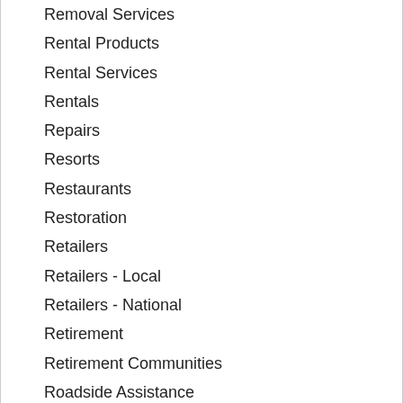Removal Services
Rental Products
Rental Services
Rentals
Repairs
Resorts
Restaurants
Restoration
Retailers
Retailers - Local
Retailers - National
Retirement
Retirement Communities
Roadside Assistance
Roof Snow Removal